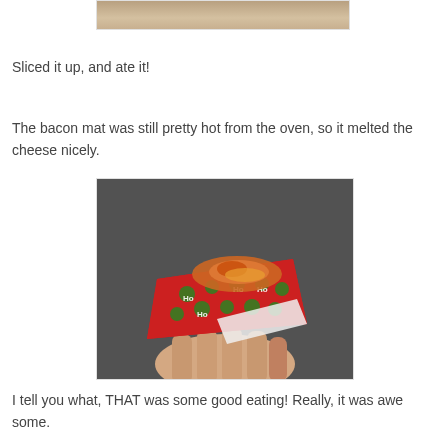[Figure (photo): Partial photo cropped at top showing food on a wooden surface]
Sliced it up, and ate it!
The bacon mat was still pretty hot from the oven, so it melted the cheese nicely.
[Figure (photo): Person holding a piece of bacon wrapped in festive red and green Ho Ho patterned paper]
I tell you what, THAT was some good eating! Really, it was awesome.